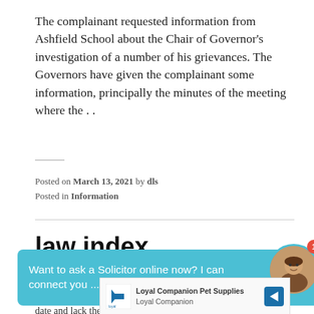The complainant requested information from Ashfield School about the Chair of Governor's investigation of a number of his grievances. The Governors have given the complainant some information, principally the minutes of the meeting where the . .
Posted on March 13, 2021 by dls
Posted in Information
law index
[Figure (screenshot): Chat widget overlay with teal background reading 'Want to ask a Solicitor online now? I can connect you ...' with a circular avatar photo of a woman and a red badge showing '1']
database. Cases here are restricted in number by date and lack the additional facilities formerly
[Figure (screenshot): Advertisement bar for Loyal Companion Pet Supplies showing logo, brand name, and blue navigation arrow icon]